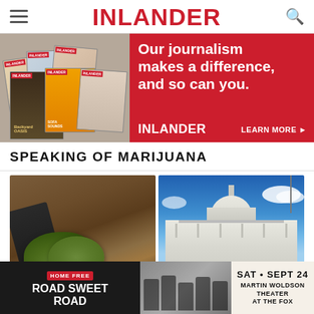INLANDER
[Figure (infographic): Inlander magazine advertisement: stacked magazine covers on red background with text 'Our journalism makes a difference, and so can you. INLANDER LEARN MORE']
SPEAKING OF MARIJUANA
[Figure (photo): Close-up photo of marijuana cannabis buds on a dark wooden surface with a black wrapper/cone]
[Figure (photo): Photo of the United States Capitol building dome against a blue sky with clouds and American flag]
[Figure (infographic): Home Free 'Road Sweet Road' concert advertisement: SAT • SEPT 24, Martin Woldson Theater at the Fox]